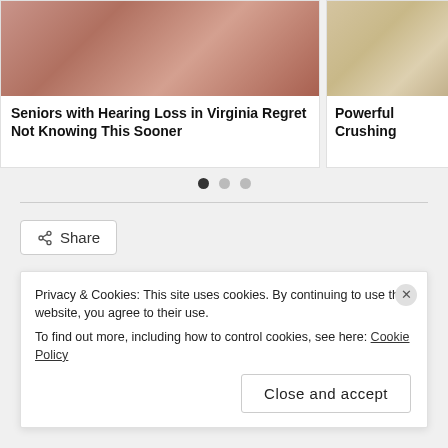[Figure (photo): Photo of elderly fingers/hands with dry skin on grey background]
[Figure (photo): Photo of sandy or textured surface, partially cut off on the right]
Seniors with Hearing Loss in Virginia Regret Not Knowing This Sooner
Powerful Crushing
• • •
Share
Privacy & Cookies: This site uses cookies. By continuing to use this website, you agree to their use.
To find out more, including how to control cookies, see here: Cookie Policy
Close and accept